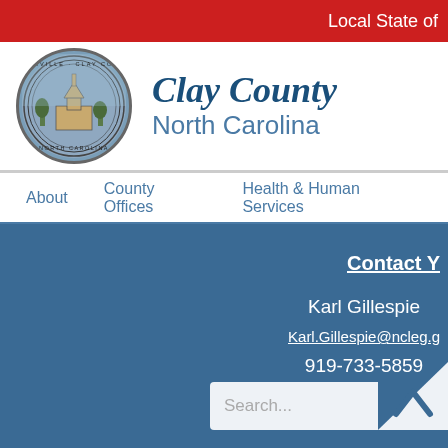Local State of
Clay County
North Carolina
About   County Offices   Health & Human Services
Contact Y
Karl Gillespie
Karl.Gillespie@ncleg.g
919-733-5859
[Figure (other): Search box with text 'Search...' and chevron up arrow icon]